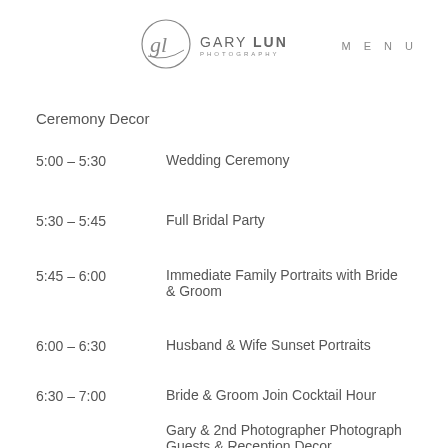[Figure (logo): Gary Lun Photography logo with circular script 'gl' monogram and text 'GARY LUN PHOTOGRAPHY']
MENU
Ceremony Decor
5:00 – 5:30    Wedding Ceremony
5:30 – 5:45    Full Bridal Party
5:45 – 6:00    Immediate Family Portraits with Bride & Groom
6:00 – 6:30    Husband & Wife Sunset Portraits
6:30 – 7:00    Bride & Groom Join Cocktail Hour
Gary & 2nd Photographer Photograph Guests & Reception Decor